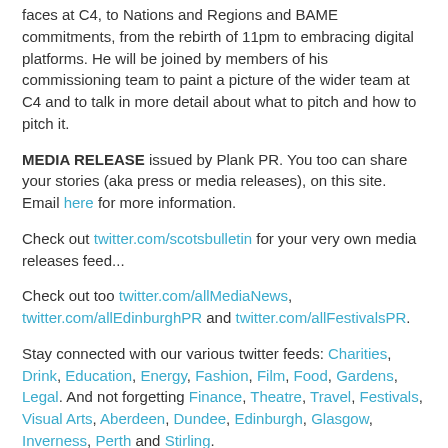faces at C4, to Nations and Regions and BAME commitments, from the rebirth of 11pm to embracing digital platforms. He will be joined by members of his commissioning team to paint a picture of the wider team at C4 and to talk in more detail about what to pitch and how to pitch it.
MEDIA RELEASE issued by Plank PR. You too can share your stories (aka press or media releases), on this site. Email here for more information.
Check out twitter.com/scotsbulletin for your very own media releases feed...
Check out too twitter.com/allMediaNews, twitter.com/allEdinburghPR and twitter.com/allFestivalsPR.
Stay connected with our various twitter feeds: Charities, Drink, Education, Energy, Fashion, Film, Food, Gardens, Legal. And not forgetting Finance, Theatre, Travel, Festivals, Visual Arts, Aberdeen, Dundee, Edinburgh, Glasgow, Inverness, Perth and Stirling.
Plank PR contact details...
Contact: Victoria Hartley-Wilson